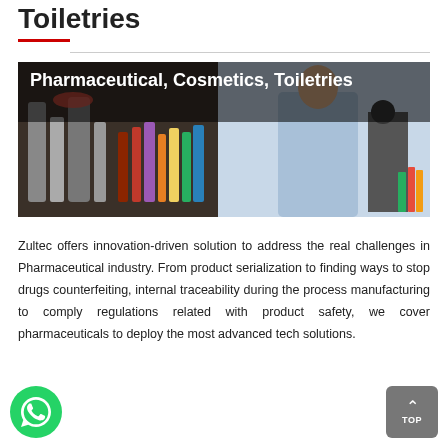Toiletries
[Figure (photo): Banner image showing pharmaceutical laboratory equipment, colorful liquid bottles, and a scientist/researcher in a lab coat, with bold white text overlay reading 'Pharmaceutical, Cosmetics, Toiletries' on dark background.]
Zultec offers innovation-driven solution to address the real challenges in Pharmaceutical industry. From product serialization to finding ways to stop drugs counterfeiting, internal traceability during the process manufacturing to comply regulations related with product safety, we cover pharmaceuticals to deploy the most advanced tech solutions.